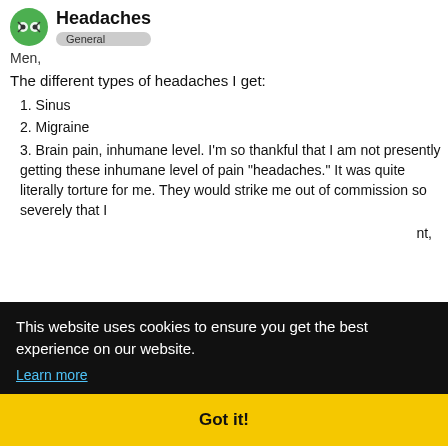Headaches — General
Men,
The different types of headaches I get:
1. Sinus
2. Migraine
3. Brain pain, inhumane level. I'm so thankful that I am not presently getting these inhumane level of pain "headaches." It was quite literally torture for me. They would strike me out of commission so severely that I [...]t,
[...] re any
[...] ng it a most [...] d with
"Brain Pain." It's so deep, so severe, so e[...]
This website uses cookies to ensure you get the best experience on our website. Learn more
Got it!